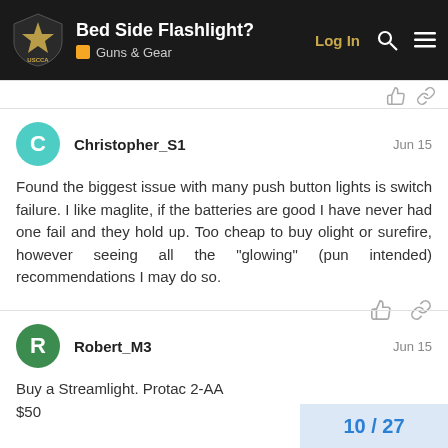Bed Side Flashlight? | Guns & Gear | USCCA | Log In
Christopher_S1  Jun 15
Found the biggest issue with many push button lights is switch failure. I like maglite, if the batteries are good I have never had one fail and they hold up. Too cheap to buy olight or surefire, however seeing all the "glowing" (pun intended) recommendations I may do so.
Robert_M3  Jun 15
Buy a Streamlight. Protac 2-AA
$50
10 / 27